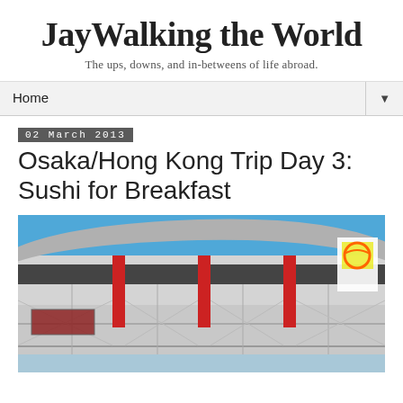JayWalking the World
The ups, downs, and in-betweens of life abroad.
Home
02 March 2013
Osaka/Hong Kong Trip Day 3: Sushi for Breakfast
[Figure (photo): Exterior of a large modern stadium building in Japan with red columns, grey curved roof, and a blue sky background. A colorful sign is visible in the upper right corner.]